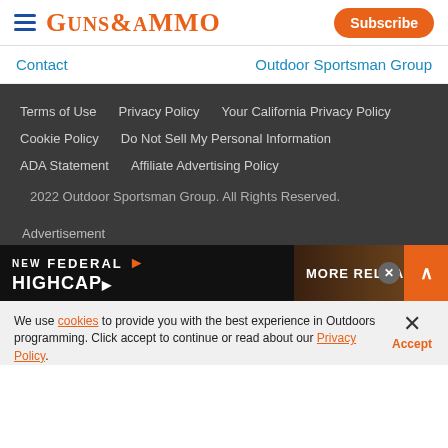GUNS&AMMO | Subscribe
Contact   Outdoor Sportsman Group
Terms of Use
Privacy Policy
Your California Privacy Policy
Cookie Policy
Do Not Sell My Personal Information
ADA Statement
Affiliate Advertising Policy
2022 Outdoor Sportsman Group. All Rights Reserved.
Advertisement
[Figure (photo): Federal ammunition advertisement banner showing 'NEW FEDERAL' logo with text 'MORE RELOADS.' overlaid on outdoor/hunting imagery]
We use cookies to provide you with the best experience in Outdoors programming. Click accept to continue or read about our Privacy Policy.